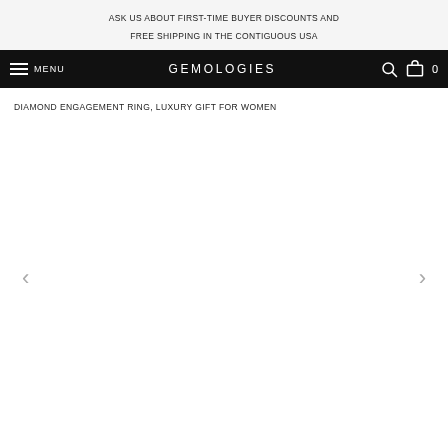ASK US ABOUT FIRST-TIME BUYER DISCOUNTS AND FREE SHIPPING IN THE CONTIGUOUS USA
MENU  GEMOLOGIES  0
DIAMOND ENGAGEMENT RING, LUXURY GIFT FOR WOMEN
[Figure (photo): Product image area for diamond engagement ring, shown with left and right navigation arrows]